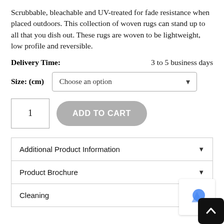Scrubbable, bleachable and UV-treated for fade resistance when placed outdoors. This collection of woven rugs can stand up to all that you dish out. These rugs are woven to be lightweight, low profile and reversible.
Delivery Time: 3 to 5 business days
Size: (cm) Choose an option
1  ADD TO CART
Additional Product Information ▼
Product Brochure ▼
Cleaning